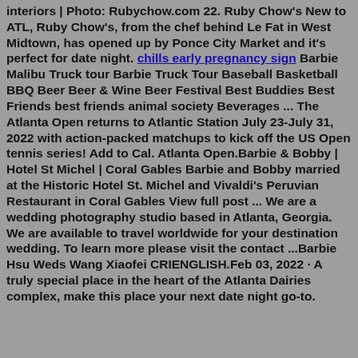interiors | Photo: Rubychow.com 22. Ruby Chow's New to ATL, Ruby Chow's, from the chef behind Le Fat in West Midtown, has opened up by Ponce City Market and it's perfect for date night. chills early pregnancy sign Barbie Malibu Truck tour Barbie Truck Tour Baseball Basketball BBQ Beer Beer & Wine Beer Festival Best Buddies Best Friends best friends animal society Beverages ... The Atlanta Open returns to Atlantic Station July 23-July 31, 2022 with action-packed matchups to kick off the US Open tennis series! Add to Cal. Atlanta Open.Barbie & Bobby | Hotel St Michel | Coral Gables Barbie and Bobby married at the Historic Hotel St. Michel and Vivaldi's Peruvian Restaurant in Coral Gables View full post ... We are a wedding photography studio based in Atlanta, Georgia. We are available to travel worldwide for your destination wedding. To learn more please visit the contact ...Barbie Hsu Weds Wang Xiaofei CRIENGLISH.Feb 03, 2022 · A truly special place in the heart of the Atlanta Dairies complex, make this place your next date night go-to.